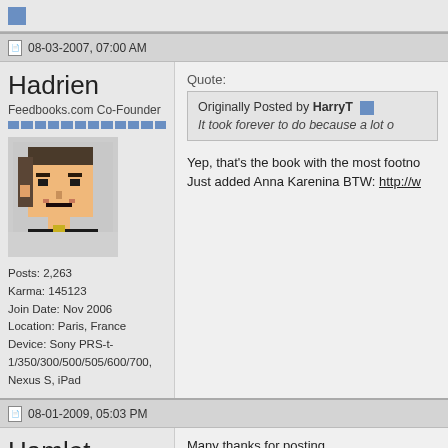08-03-2007, 07:00 AM
Hadrien
Feedbooks.com Co-Founder
[Figure (illustration): Pixel art avatar of a person]
Posts: 2,263
Karma: 145123
Join Date: Nov 2006
Location: Paris, France
Device: Sony PRS-t-1/350/300/500/505/600/700, Nexus S, iPad
Quote:
Originally Posted by HarryT
It took forever to do because a lot o
Yep, that's the book with the most footno
Just added Anna Karenina BTW: http://w
08-01-2009, 05:03 PM
Hamlet
Junior Member
Many thanks for posting